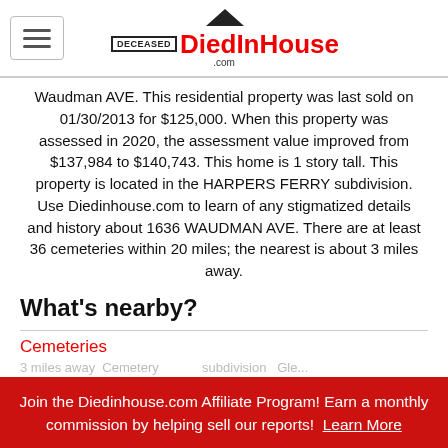DiedInHouse.com logo and navigation
Waudman AVE. This residential property was last sold on 01/30/2013 for $125,000. When this property was assessed in 2020, the assessment value improved from $137,984 to $140,743. This home is 1 story tall. This property is located in the HARPERS FERRY subdivision. Use Diedinhouse.com to learn of any stigmatized details and history about 1636 WAUDMAN AVE. There are at least 36 cemeteries within 20 miles; the nearest is about 3 miles away.
What's nearby?
Cemeteries
3 miles away Cemetery subdivision Columbarium
Join the Diedinhouse.com Affiliate Program! Earn a monthly commission by helping sell our reports! Learn More